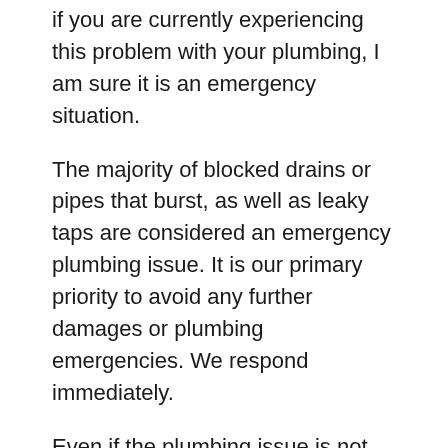if you are currently experiencing this problem with your plumbing, I am sure it is an emergency situation.
The majority of blocked drains or pipes that burst, as well as leaky taps are considered an emergency plumbing issue. It is our primary priority to avoid any further damages or plumbing emergencies. We respond immediately.
Even if the plumbing issue is not obvious, 24 hour plumbers are able to assist you.
It is essential to handle all plumbing emergencies promptly to prevent further damage. We'll quickly arrive to evaluate the situation and offer the best emergency plumbing solutions.
Professional plumbers from Sewer Surgeon are available 24 hours a day, 365 days a year to provide emergency plumbing services for businesses and homes.